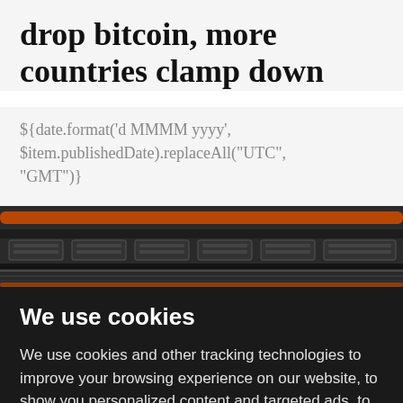drop bitcoin, more countries clamp down
${date.format('d MMMM yyyy', $item.publishedDate).replaceAll("UTC", "GMT")}
[Figure (photo): Server rack or data center hardware with cables and orange pipes, dark industrial setting — likely a cryptocurrency mining facility]
We use cookies
We use cookies and other tracking technologies to improve your browsing experience on our website, to show you personalized content and targeted ads, to analyze our website traffic, and